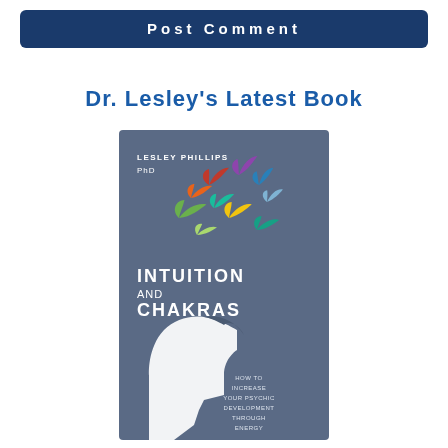Post Comment
Dr. Lesley's Latest Book
[Figure (illustration): Book cover of 'Intuition and Chakras' by Lesley Phillips PhD. Dark blue/slate background with a white silhouette of a human head in profile facing left. Colorful birds (in orange, red, green, teal, purple, yellow, blue) flying upward from the head. Text reads: LESLEY PHILLIPS PhD, INTUITION AND CHAKRAS, HOW TO INCREASE YOUR PSYCHIC DEVELOPMENT THROUGH ENERGY.]